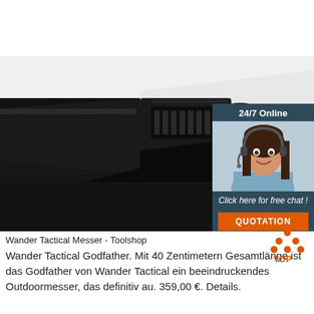[Figure (photo): Close-up photo of a black tactical buckle/strap belt with a plastic quick-release buckle clasp against a white background. In the upper right corner, an overlaid customer service chat widget showing '24/7 Online', a woman with a headset smiling, 'Click here for free chat!' text, and an orange 'QUOTATION' button.]
Wander Tactical Messer - Toolshop
Wander Tactical Godfather. Mit 40 Zentimetern Gesamtlänge ist das Godfather von Wander Tactical ein beeindruckendes Outdoormesser, das definitiv au. 359,00 €. Details.